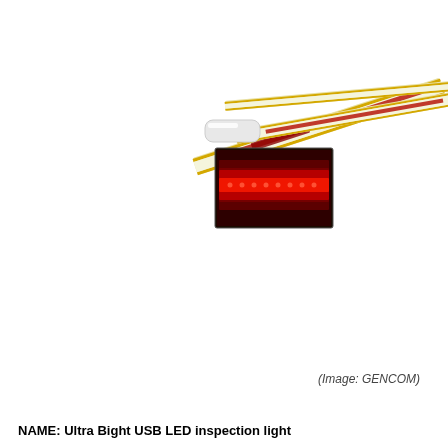[Figure (photo): Product photo of Ultra Bright USB LED inspection lights. Shows multiple yellow-edged LED strip lights with red accent stripe fanning out diagonally, and a small inset photo showing lit red LEDs in a dark background.]
(Image: GENCOM)
NAME: Ultra Bight USB LED inspection light